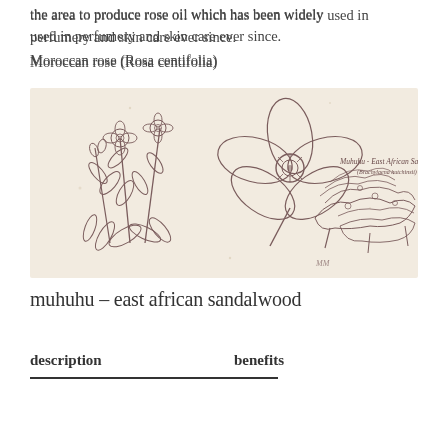the area to produce rose oil which has been widely used in perfumery and skin care ever since.
Moroccan rose (Rosa centifolia)
[Figure (illustration): Botanical illustration of muhuhu – east african sandalwood plant with flowers and foliage, rendered in sepia/brown ink style on cream background. Contains text label 'Muhuhu - East African Sandalwood (Brachylaena hutchinsii)']
muhuhu – east african sandalwood
description	benefits